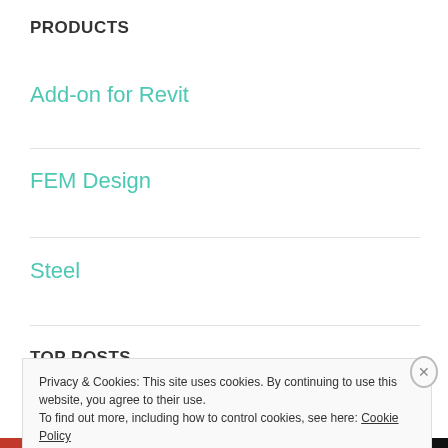PRODUCTS
Add-on for Revit
FEM Design
Steel
TOP POSTS
PowerPack for Advance Steel Stair Macros »
Privacy & Cookies: This site uses cookies. By continuing to use this website, you agree to their use.
To find out more, including how to control cookies, see here: Cookie Policy
Close and accept